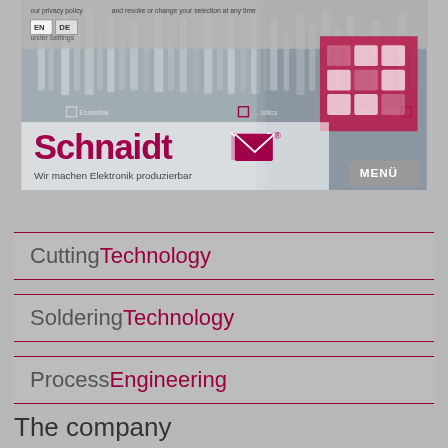[Figure (screenshot): Website header with abstract 3D cylinders/components background image, Schnaidt company logo with envelope icon, tagline, cookie consent overlay, language switcher (EN/DE), pink/magenta grid card in top right, and MENÜ navigation button]
CuttingTechnology
SolderingTechnology
ProcessEngineering
The company